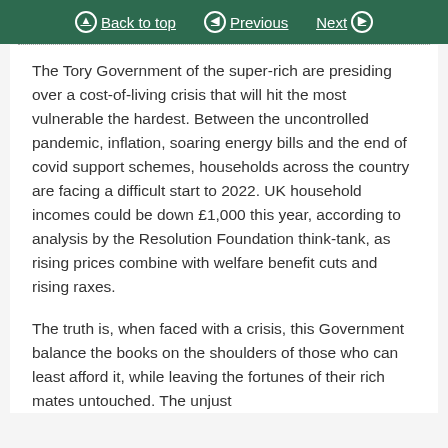Back to top  Previous  Next
The Tory Government of the super-rich are presiding over a cost-of-living crisis that will hit the most vulnerable the hardest. Between the uncontrolled pandemic, inflation, soaring energy bills and the end of covid support schemes, households across the country are facing a difficult start to 2022. UK household incomes could be down £1,000 this year, according to analysis by the Resolution Foundation think-tank, as rising prices combine with welfare benefit cuts and rising raxes.
The truth is, when faced with a crisis, this Government balance the books on the shoulders of those who can least afford it, while leaving the fortunes of their rich mates untouched. The unjust